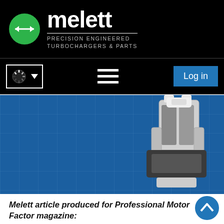[Figure (logo): Melett logo: green circle with double-headed arrow icon, white bold 'melett' text, horizontal rule, tagline 'PRECISION ENGINEERED TURBOCHARGERS & PARTS' on black background]
[Figure (screenshot): Website navigation bar on black background with language selector box (loading spinner icon and dropdown arrow), hamburger menu icon (three white horizontal bars), and blue 'Log in' button]
[Figure (photo): Hero banner: dark blue background with grid pattern overlay, turbocharger part visible in upper right corner]
Melett article produced for Professional Motor Factor magazine: